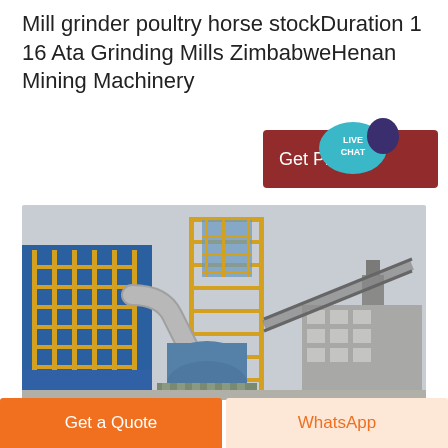Mill grinder poultry horse stockDuration 1 16 Ata Grinding Mills ZimbabweHenan Mining Machinery
[Figure (photo): Industrial grinding mill facility with yellow steel frame structure, blue building, large vertical tower with conveyor belt, and cylindrical grinding equipment in foreground.]
Get Price
Get a Quote
WhatsApp